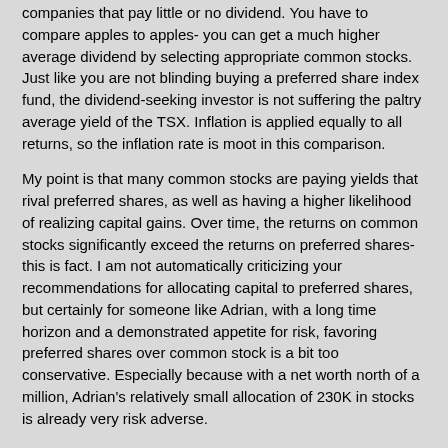companies that pay little or no dividend. You have to compare apples to apples- you can get a much higher average dividend by selecting appropriate common stocks. Just like you are not blinding buying a preferred share index fund, the dividend-seeking investor is not suffering the paltry average yield of the TSX. Inflation is applied equally to all returns, so the inflation rate is moot in this comparison.
My point is that many common stocks are paying yields that rival preferred shares, as well as having a higher likelihood of realizing capital gains. Over time, the returns on common stocks significantly exceed the returns on preferred shares- this is fact. I am not automatically criticizing your recommendations for allocating capital to preferred shares, but certainly for someone like Adrian, with a long time horizon and a demonstrated appetite for risk, favoring preferred shares over common stock is a bit too conservative. Especially because with a net worth north of a million, Adrian's relatively small allocation of 230K in stocks is already very risk adverse.
I'm all for yield, but I think you overemphasizing the yield of preferred shares and ignoring the quality of common stocks.
Anyhow, thanks again for your comment and blog, all the best,
TEMPLE